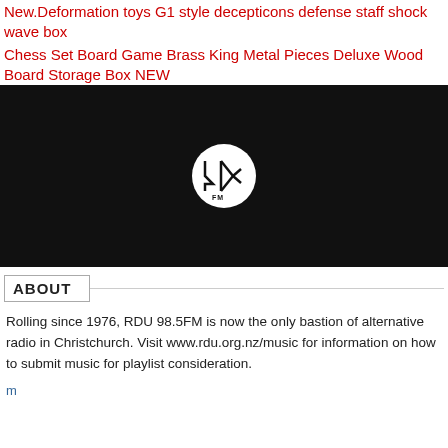New.Deformation toys G1 style decepticons defense staff shock wave box
Chess Set Board Game Brass King Metal Pieces Deluxe Wood Board Storage Box NEW
[Figure (logo): RDU 98.5FM logo in a white circle on a black background]
ABOUT
Rolling since 1976, RDU 98.5FM is now the only bastion of alternative radio in Christchurch. Visit www.rdu.org.nz/music for information on how to submit music for playlist consideration.
m